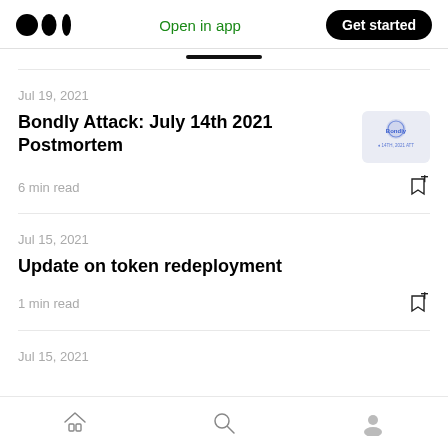Medium app header with logo, Open in app link, and Get started button
Jul 19, 2021
Bondly Attack: July 14th 2021 Postmortem
6 min read
Jul 15, 2021
Update on token redeployment
1 min read
Jul 15, 2021
Bottom navigation bar with home, search, and profile icons